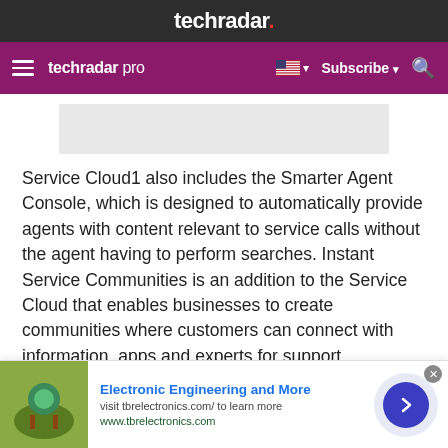techradar.
techradar pro   Subscribe
[Figure (other): Gray advertisement placeholder rectangle]
Service Cloud1 also includes the Smarter Agent Console, which is designed to automatically provide agents with content relevant to service calls without the agent having to perform searches. Instant Service Communities is an addition to the Service Cloud that enables businesses to create communities where customers can connect with information, apps and experts for support.
Service Cloud1 is now generally available and pricing
[Figure (infographic): Bottom advertisement banner: Electronic Engineering and More — visit tbrelectronics.com/ to learn more — www.tbrelectronics.com]